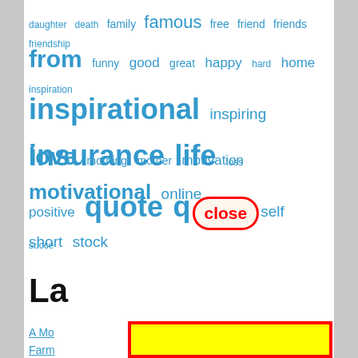[Figure (infographic): Tag cloud of words related to quotes and insurance (daughter, death, family, famous, free, friend, friends, friendship, from, funny, good, great, happy, hard, home, inspiration, inspirational, inspiring, insurance, life, loss, love, morning, mother, motivation, motivational, online, positive, quote, quotes, self, short, stock, success) in blue, with a red-outlined 'close' button overlay in the middle, and a large yellow rectangle with red border covering the bottom half of the image. Partial text visible: 'La' (large bold) and links: A Mo..., Farm..., Quot..., Posi..., Birth...]
daughter death family famous free friend friends friendship from funny good great happy hard home inspiration inspirational inspiring insurance life loss love morning mother motivation motivational online positive quote quotes self short stock success
La
A Mo...
Farm...
Quot...
Posi...
Birth...